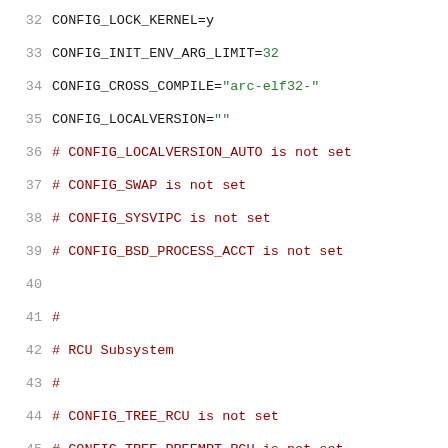32  CONFIG_LOCK_KERNEL=y
33  CONFIG_INIT_ENV_ARG_LIMIT=32
34  CONFIG_CROSS_COMPILE="arc-elf32-"
35  CONFIG_LOCALVERSION=""
36  # CONFIG_LOCALVERSION_AUTO is not set
37  # CONFIG_SWAP is not set
38  # CONFIG_SYSVIPC is not set
39  # CONFIG_BSD_PROCESS_ACCT is not set
40
41  #
42  # RCU Subsystem
43  #
44  # CONFIG_TREE_RCU is not set
45  # CONFIG_TREE_PREEMPT_RCU is not set
46  CONFIG_TINY_RCU=y
47  # CONFIG_TREE_RCU_TRACE is not set
48  CONFIG_IKCONFIG=y
49  # CONFIG_IKCONFIG_PROC is not set
50  # CONFIG_SYSFS_DEPRECATED_V2 is not set
51  # CONFIG_RELAY is not set
52  # CONFIG_NAMESPACES is not set